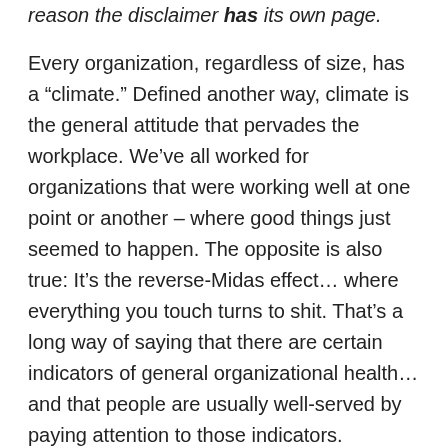reason the disclaimer has its own page.
Every organization, regardless of size, has a “climate.” Defined another way, climate is the general attitude that pervades the workplace. We’ve all worked for organizations that were working well at one point or another – where good things just seemed to happen. The opposite is also true: It’s the reverse-Midas effect… where everything you touch turns to shit. That’s a long way of saying that there are certain indicators of general organizational health… and that people are usually well-served by paying attention to those indicators.
Want to know how well your organization is really operating? Look to issues like the level of trust within the organization (i.e. can you rely on the guy sitting next to you to deliver in the clutch), how well the organization